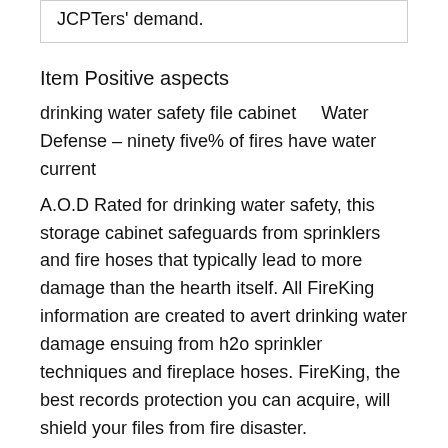JCPTers' demand.
Item Positive aspects
drinking water safety file cabinet    Water Defense – ninety five% of fires have water current
A.O.D Rated for drinking water safety, this storage cabinet safeguards from sprinklers and fire hoses that typically lead to more damage than the hearth itself. All FireKing information are created to avert drinking water damage ensuing from h2o sprinkler techniques and fireplace hoses. FireKing, the best records protection you can acquire, will shield your files from fire disaster.
one .Surface: environmental electrostatic coating two. Colour: different coloration available in